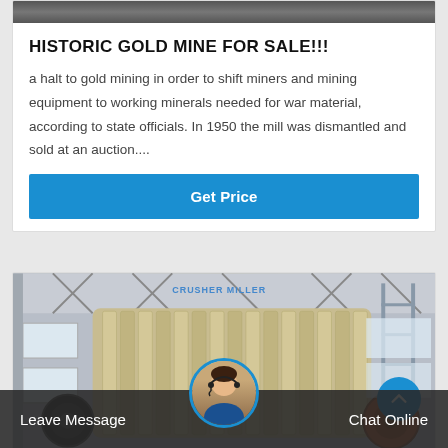[Figure (photo): Top portion of a dark/grey image, partially visible, likely industrial equipment]
HISTORIC GOLD MINE FOR SALE!!!
a halt to gold mining in order to shift miners and mining equipment to working minerals needed for war material, according to state officials. In 1950 the mill was dismantled and sold at an auction....
Get Price
[Figure (photo): Large industrial crusher or mill machine inside a factory/warehouse, tan/beige colored ribbed drum with wheels visible, factory interior with steel framework in background]
Leave Message
Chat Online